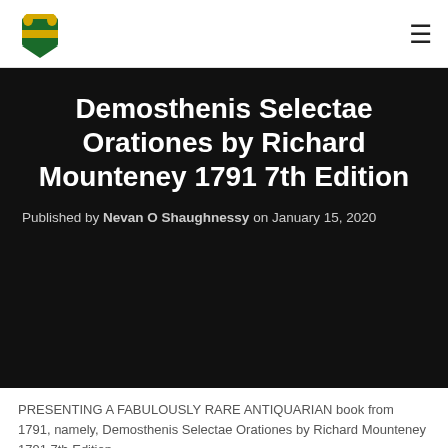[Figure (logo): Coat of arms / crest logo with green and gold heraldic design]
Demosthenis Selectae Orationes by Richard Mounteney 1791 7th Edition
Published by Nevan O Shaughnessy on January 15, 2020
PRESENTING A FABULOUSLY RARE ANTIQUARIAN book from 1791, namely, Demosthenis Selectae Orationes by Richard Mounteney 1791 7th Edition.